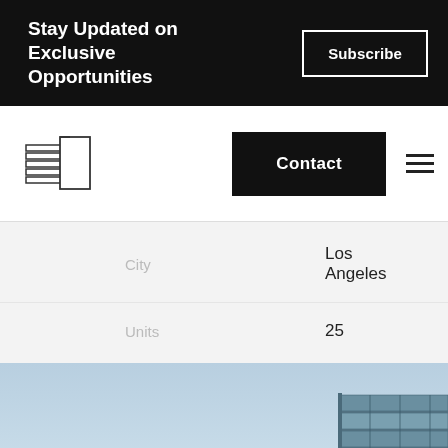Stay Updated on Exclusive Opportunities
Subscribe
[Figure (logo): Building/stacked pages logo icon]
Contact
|  |  |
| --- | --- |
| City | Los Angeles |
| Units | 25 |
[Figure (photo): Exterior photo of a modern glass office building corner against light blue sky]